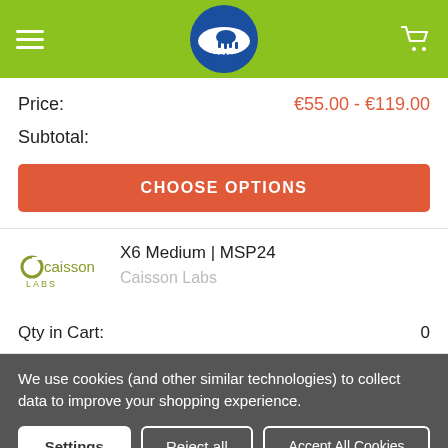Gentaur - navigation header with logo, hamburger menu, and cart icon
Price: €55.00 - €119.00
Subtotal:
CHOOSE OPTIONS
X6 Medium | MSP24
Caisson Labs
[Figure (logo): Caisson Labs logo in olive/green color]
Qty in Cart: 0
We use cookies (and other similar technologies) to collect data to improve your shopping experience.
Settings
Reject all
Accept All Cookies